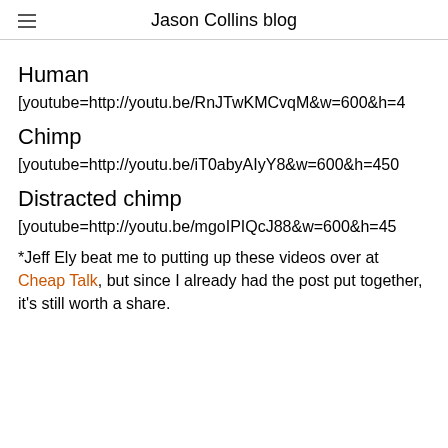Jason Collins blog
Human
[youtube=http://youtu.be/RnJTwKMCvqM&w=600&h=4...
Chimp
[youtube=http://youtu.be/iT0abyAIyY8&w=600&h=450
Distracted chimp
[youtube=http://youtu.be/mgoIPIQcJ88&w=600&h=45...
*Jeff Ely beat me to putting up these videos over at Cheap Talk, but since I already had the post put together, it’s still worth a share.